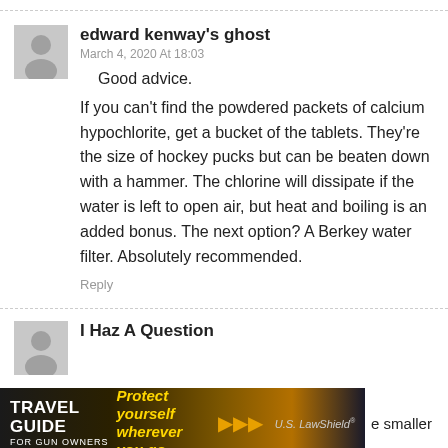edward kenway's ghost
March 4, 2020 At 18:03
Good advice.
If you can't find the powdered packets of calcium hypochlorite, get a bucket of the tablets. They're the size of hockey pucks but can be beaten down with a hammer. The chlorine will dissipate if the water is left to open air, but heat and boiling is an added bonus. The next option? A Berkey water filter. Absolutely recommended.
Reply
I Haz A Question
e smaller
[Figure (infographic): Travel Guide for Gun Owners advertisement banner with text 'Protect yourself wherever you go.' and U.S. LawShield logo with gold play-button arrows]